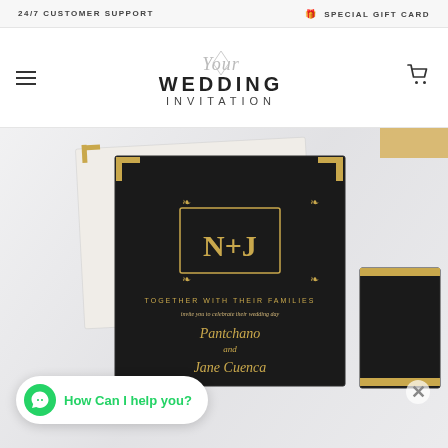24/7 CUSTOMER SUPPORT   🎁 SPECIAL GIFT CARD
[Figure (logo): Your Wedding Invitation logo with script 'Your' above bold WEDDING INVITATION text, with a decorative diamond/polygon shape behind the script]
[Figure (photo): Photo of elegant black and gold wedding invitation cards laid on a white fluffy surface. The main card shows 'N+J' monogram in gold with floral wreath border, and text reading 'TOGETHER WITH THEIR FAMILIES invite you to celebrate their wedding day' followed by cursive names 'Pantchano' and 'Jane Cuenca']
How Can I help you?